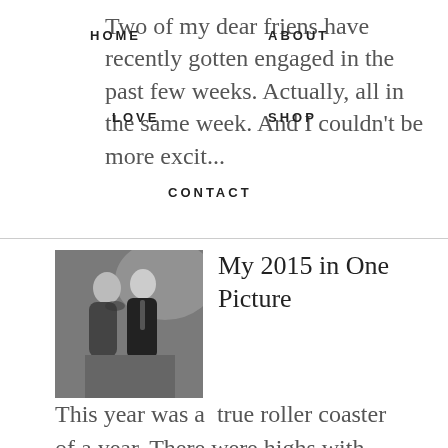HOME   ABOUT   LOVE   SHOP   CONTACT
Two of my dear friens have recently gotten engaged in the past few weeks. Actually, all in the same week. And I couldn't be more excit...
My 2015 in One Picture
[Figure (photo): Black and white photo of a couple, woman leaning toward man in formal attire]
This year was a  true roller coaster of a year. There were highs with weddings and babies, there were lows with me being sick,